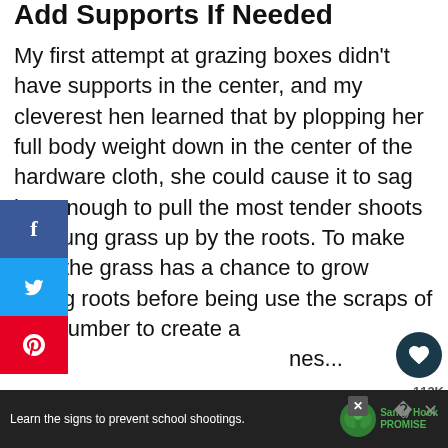Add Supports If Needed
My first attempt at grazing boxes didn't have supports in the center, and my cleverest hen learned that by plopping her full body weight down in the center of the hardware cloth, she could cause it to sag just enough to pull the most tender shoots of young grass up by the roots. To make sure the grass has a chance to grow strong roots before being use the scraps of your lumber to create a
fe... nes...
Learn the signs to prevent school shootings. Sandy Hook Promise